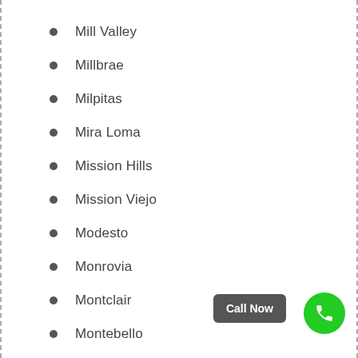Mill Valley
Millbrae
Milpitas
Mira Loma
Mission Hills
Mission Viejo
Modesto
Monrovia
Montclair
Montebello